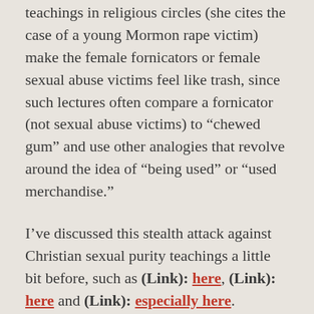teachings in religious circles (she cites the case of a young Mormon rape victim) make the female fornicators or female sexual abuse victims feel like trash, since such lectures often compare a fornicator (not sexual abuse victims) to “chewed gum” and use other analogies that revolve around the idea of “being used” or “used merchandise.”
I’ve discussed this stealth attack against Christian sexual purity teachings a little bit before, such as (Link): here, (Link): here and (Link): especially here.
Supposedly, so the thinking goes among many liberal Christians, emergents, and feminists, no Christian can or should ever uphold sexual purity